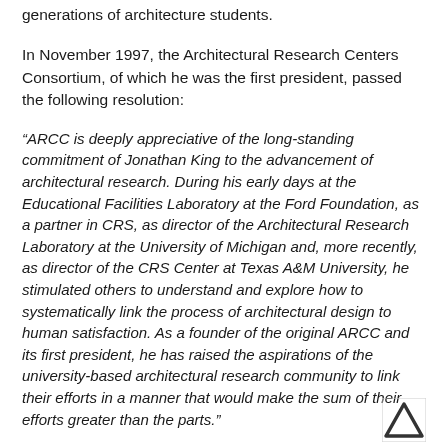generations of architecture students.
In November 1997, the Architectural Research Centers Consortium, of which he was the first president, passed the following resolution:
“ARCC is deeply appreciative of the long-standing commitment of Jonathan King to the advancement of architectural research. During his early days at the Educational Facilities Laboratory at the Ford Foundation, as a partner in CRS, as director of the Architectural Research Laboratory at the University of Michigan and, more recently, as director of the CRS Center at Texas A&M University, he stimulated others to understand and explore how to systematically link the process of architectural design to human satisfaction. As a founder of the original ARCC and its first president, he has raised the aspirations of the university-based architectural research community to link their efforts in a manner that would make the sum of their efforts greater than the parts.”
[Figure (logo): Lambda or chevron logo mark in bottom right corner]